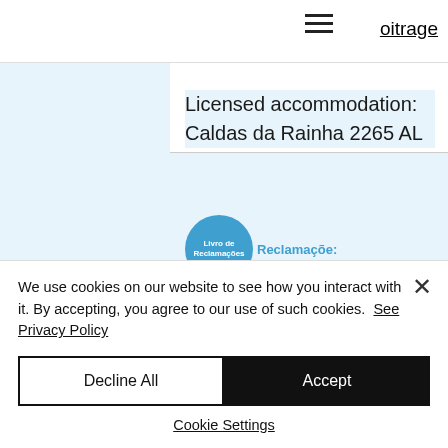[Figure (screenshot): Hamburger menu icon (three horizontal lines) in top navigation bar]
oitrage
Licensed accommodation: Caldas da Rainha 2265 AL
[Figure (logo): Livro de Reclamações circular blue logo with text]
Recommended :
[Figure (illustration): Shell icon with pink gem and Buy house in Portugal: text banner]
We use cookies on our website to see how you interact with it. By accepting, you agree to our use of such cookies.  See Privacy Policy
Decline All
Accept
Cookie Settings